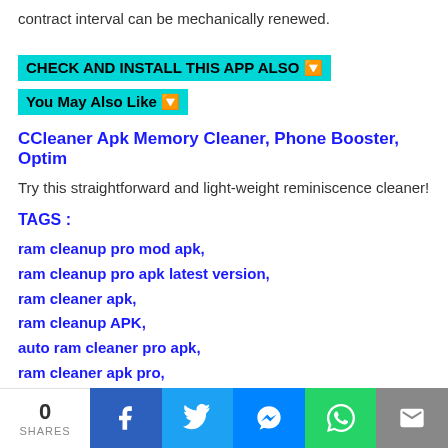contract interval can be mechanically renewed.
CHECK AND INSTALL THIS APP ALSO 🔽
You May Also Like 🔽
CCleaner Apk Memory Cleaner, Phone Booster, Optim
Try this straightforward and light-weight reminiscence cleaner!
TAGS :
ram cleanup pro mod apk,
ram cleanup pro apk latest version,
ram cleaner apk,
ram cleanup APK,
auto ram cleaner pro apk,
ram cleaner apk pro,
0 SHARES | Facebook | Twitter | Messenger | WhatsApp | Email